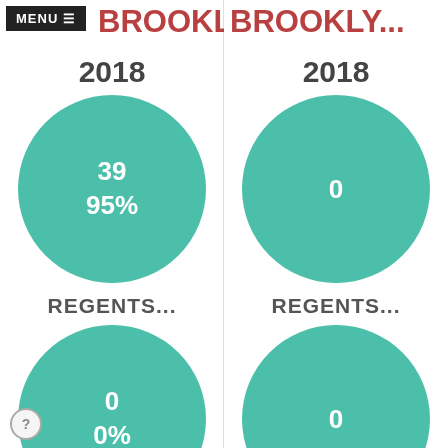[Figure (infographic): Left column: BROOKLY... school name with MENU button overlay, year 2018, teal bubble showing 39 / 95%, REGENTS... label, teal bubble showing 0 / 0%]
[Figure (infographic): Right column: BROOKLY... school name, year 2018, teal bubble showing 0, REGENTS... label, teal bubble showing 0]